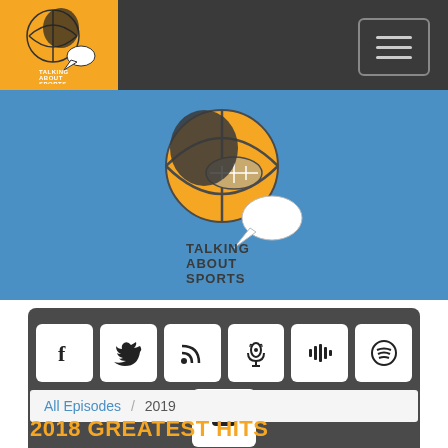Talking About Sports — navigation bar with logo and hamburger menu
[Figure (logo): Talking About Sports logo — basketball/football head with speech bubbles, orange square background in nav and centered in blue banner]
[Figure (infographic): Social media icon buttons: Facebook, Twitter, RSS, Podcast, Stitcher, Spotify, YouTube — white rounded squares on dark grey background]
All Episodes / 2019
2018 GREATEST HITS
[Figure (other): Episode player card: play button on left, podcast name TALKING ABOUT SPORTS, episode title 2018 GREATEST HITS, progress bar]